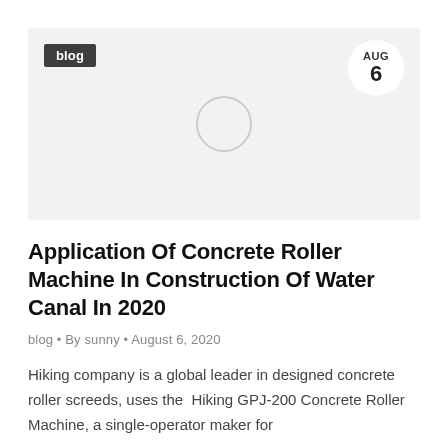[Figure (photo): Blog post card area with light gray background, a 'blog' label badge in dark gray top-left, an AUG 6 date badge in a white circle top-right, and a placeholder loading circle in the center of the image area.]
Application Of Concrete Roller Machine In Construction Of Water Canal In 2020
blog • By sunny • August 6, 2020
Hiking company is a global leader in designed concrete roller screeds, uses the  Hiking GPJ-200 Concrete Roller Machine, a single-operator maker for